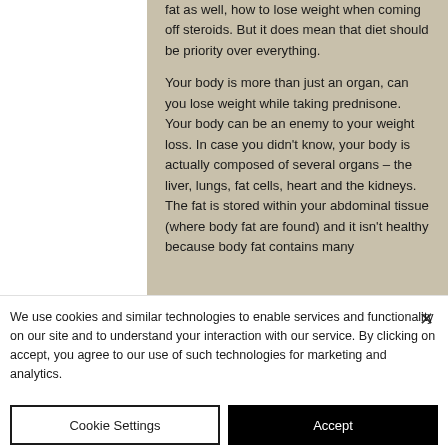fat as well, how to lose weight when coming off steroids. But it does mean that diet should be priority over everything.

Your body is more than just an organ, can you lose weight while taking prednisone. Your body can be an enemy to your weight loss. In case you didn't know, your body is actually composed of several organs – the liver, lungs, fat cells, heart and the kidneys. The fat is stored within your abdominal tissue (where body fat are found) and it isn't healthy because body fat contains many
We use cookies and similar technologies to enable services and functionality on our site and to understand your interaction with our service. By clicking on accept, you agree to our use of such technologies for marketing and analytics.
Cookie Settings
Accept